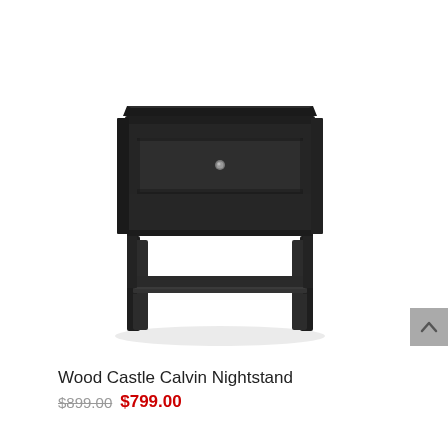[Figure (photo): A dark espresso/black wood nightstand with one drawer (small round metal knob), four tapered legs, and a lower open shelf. The piece has a modern, simple silhouette against a white background.]
Wood Castle Calvin Nightstand
$899.00 $799.00